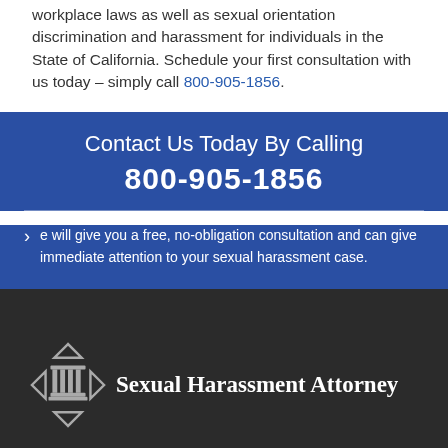workplace laws as well as sexual orientation discrimination and harassment for individuals in the State of California. Schedule your first consultation with us today – simply call 800-905-1856.
Contact Us Today By Calling 800-905-1856
e will give you a free, no-obligation consultation and can give immediate attention to your sexual harassment case.
[Figure (logo): Sexual Harassment Attorney logo with diamond/arrow icon and pillar symbol on dark background]